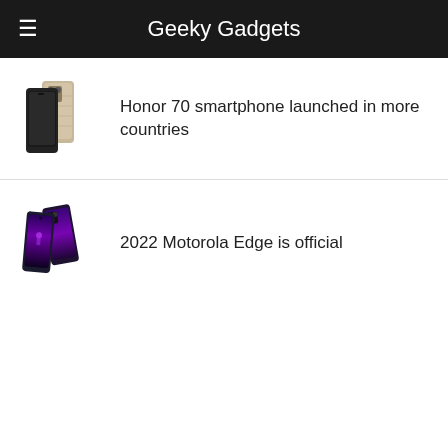Geeky Gadgets
[Figure (photo): Honor 70 smartphone — black and gold/beige color variants shown front and back]
Honor 70 smartphone launched in more countries
[Figure (photo): 2022 Motorola Edge — two phones shown at an angle with purple/dark color and city night scene wallpaper]
2022 Motorola Edge is official